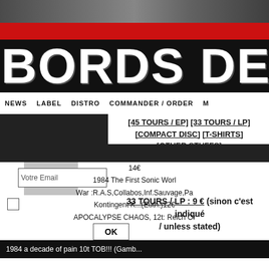[Figure (screenshot): Top strip with faded photo collage background]
BORDS DE SE
NEWS   LABEL   DISTRO   COMMANDER / ORDER   M
[Figure (screenshot): Left column dark image placeholder]
[45 TOURS / EP] [33 TOURS / LP] [COMPACT DISC] [T-SHIRTS] [OTHER STUFFS]
Votre Email
33 TOURS / LP : 9 € (sinon c'est indiqué / unless stated)
OK
1984 a decade of pain 10t  TOB!!! (Gamb...
14€
1984 The First Sonic Worl
War :R.A.S,Collabos,Inf.Sauvage,Pa
Kontingent K...(Euth.)12€
APOCALYPSE CHAOS, 12t: Reich Or